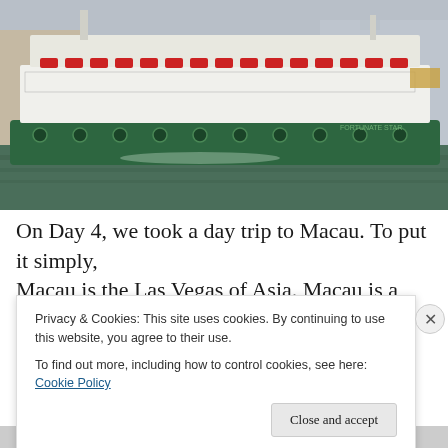[Figure (photo): A green and white Star Ferry boat on the water in Hong Kong/Macau, with lifeboats visible on the upper deck and buildings in the background.]
On Day 4, we took a day trip to Macau. To put it simply, Macau is the Las Vegas of Asia. Macau is a former
Privacy & Cookies: This site uses cookies. By continuing to use this website, you agree to their use.
To find out more, including how to control cookies, see here: Cookie Policy
Close and accept